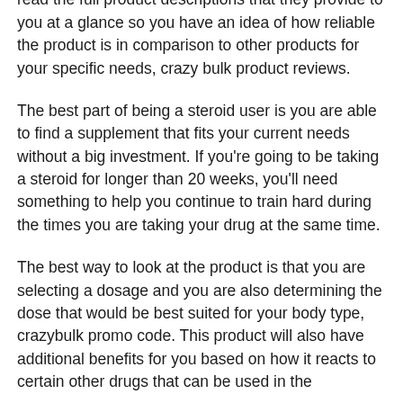assessment of their selection of products. Be sure to read the full product descriptions that they provide to you at a glance so you have an idea of how reliable the product is in comparison to other products for your specific needs, crazy bulk product reviews.
The best part of being a steroid user is you are able to find a supplement that fits your current needs without a big investment. If you're going to be taking a steroid for longer than 20 weeks, you'll need something to help you continue to train hard during the times you are taking your drug at the same time.
The best way to look at the product is that you are selecting a dosage and you are also determining the dose that would be best suited for your body type, crazybulk promo code. This product will also have additional benefits for you based on how it reacts to certain other drugs that can be used in the